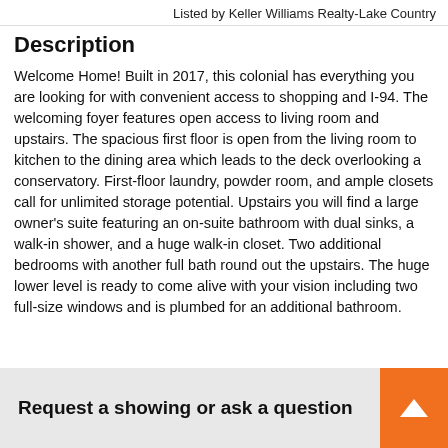Listed by Keller Williams Realty-Lake Country
Description
Welcome Home! Built in 2017, this colonial has everything you are looking for with convenient access to shopping and I-94. The welcoming foyer features open access to living room and upstairs. The spacious first floor is open from the living room to kitchen to the dining area which leads to the deck overlooking a conservatory. First-floor laundry, powder room, and ample closets call for unlimited storage potential. Upstairs you will find a large owner’s suite featuring an on-suite bathroom with dual sinks, a walk-in shower, and a huge walk-in closet. Two additional bedrooms with another full bath round out the upstairs. The huge lower level is ready to come alive with your vision including two full-size windows and is plumbed for an additional bathroom.
Request a showing or ask a question